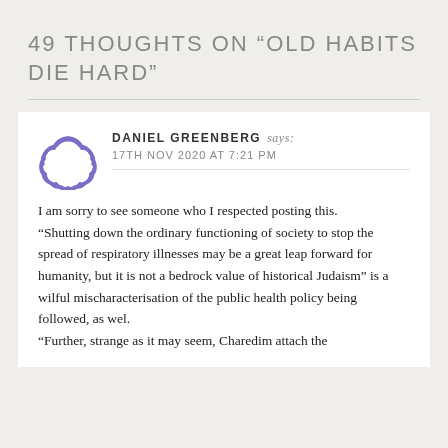49 THOUGHTS ON “OLD HABITS DIE HARD”
DANIEL GREENBERG says: 17TH NOV 2020 AT 7:21 PM
I am sorry to see someone who I respected posting this.
“Shutting down the ordinary functioning of society to stop the spread of respiratory illnesses may be a great leap forward for humanity, but it is not a bedrock value of historical Judaism” is a wilful mischaracterisation of the public health policy being followed, as wel.
“Further, strange as it may seem, Charedim attach the